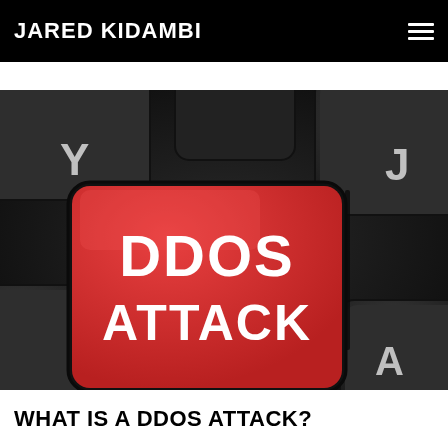JARED KIDAMBI
[Figure (photo): Close-up of a dark keyboard with a red key labeled 'DDOS ATTACK' in white bold text, surrounded by other dark gray keys with letters Y and J visible.]
WHAT IS A DDOS ATTACK?